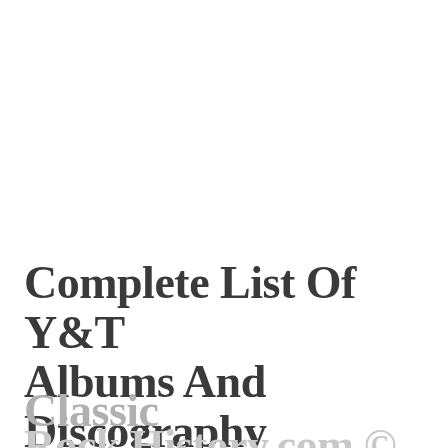Complete List Of Y&T Albums And Discography article published on Classic Rock History.com © 2022